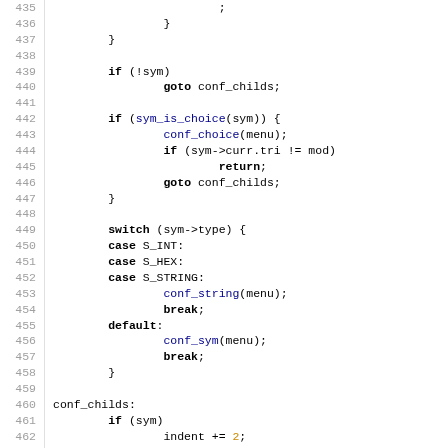[Figure (screenshot): Source code listing showing C code lines 435–464, with line numbers in gray on the left, keywords in bold, function names in blue, and numeric literals in orange.]